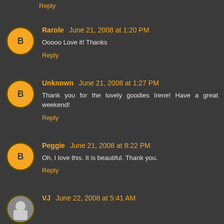Reply
Rarole June 21, 2008 at 1:20 PM
Ooooo Love it! Thanks
Reply
Unknown June 21, 2008 at 1:27 PM
Thank you for the lovely goodies Irene! Have a great weekend!
Reply
Peggie June 21, 2008 at 8:22 PM
Oh, I love this. It is beautiful. Thank you.
Reply
VJ June 22, 2008 at 5:41 AM